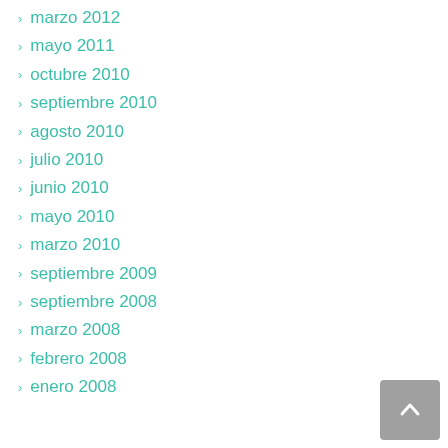marzo 2012
mayo 2011
octubre 2010
septiembre 2010
agosto 2010
julio 2010
junio 2010
mayo 2010
marzo 2010
septiembre 2009
septiembre 2008
marzo 2008
febrero 2008
enero 2008